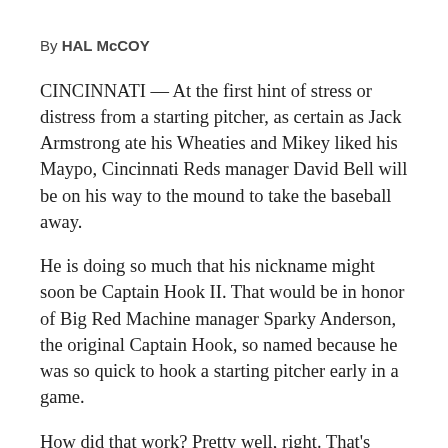By HAL McCOY
CINCINNATI — At the first hint of stress or distress from a starting pitcher, as certain as Jack Armstrong ate his Wheaties and Mikey liked his Maypo, Cincinnati Reds manager David Bell will be on his way to the mound to take the baseball away.
He is doing so much that his nickname might soon be Captain Hook II. That would be in honor of Big Red Machine manager Sparky Anderson, the original Captain Hook, so named because he was so quick to hook a starting pitcher early in a game.
How did that work? Pretty well, right. That's because Anderson had Pedro Borbon, Clay Carroll, Will McEnaney and Rawlins Jackson Eastwick III in his bullpen.